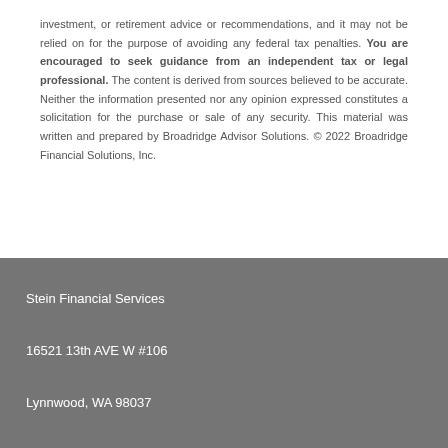investment, or retirement advice or recommendations, and it may not be relied on for the purpose of avoiding any federal tax penalties. You are encouraged to seek guidance from an independent tax or legal professional. The content is derived from sources believed to be accurate. Neither the information presented nor any opinion expressed constitutes a solicitation for the purchase or sale of any security. This material was written and prepared by Broadridge Advisor Solutions. © 2022 Broadridge Financial Solutions, Inc.
Stein Financial Services
16521 13th AVE W #106
Lynnwood, WA 98037